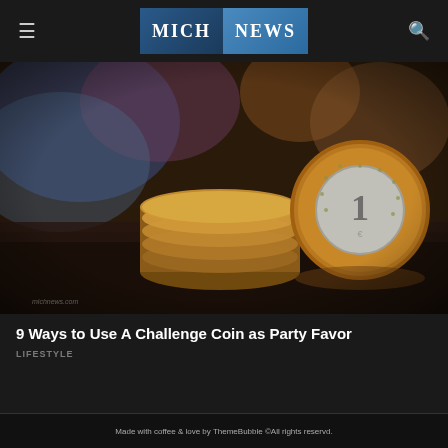MICH NEWS
[Figure (photo): Stack of euro coins photographed close-up with shallow depth of field; a gold 1-euro coin stands upright on the right, with several stacked coins behind it on a dark surface, against a blurred colorful background.]
9 Ways to Use A Challenge Coin as Party Favor
LIFESTYLE
Made with coffee & love by ThemeBubble ©All rights reservd.